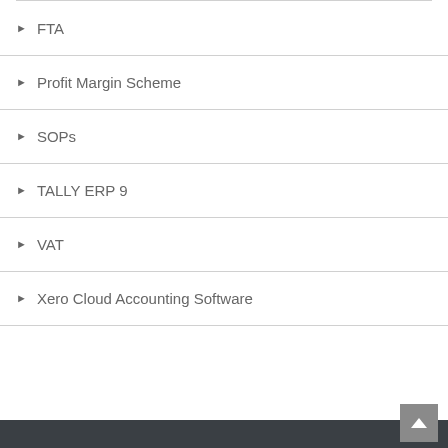FTA
Profit Margin Scheme
SOPs
TALLY ERP 9
VAT
Xero Cloud Accounting Software